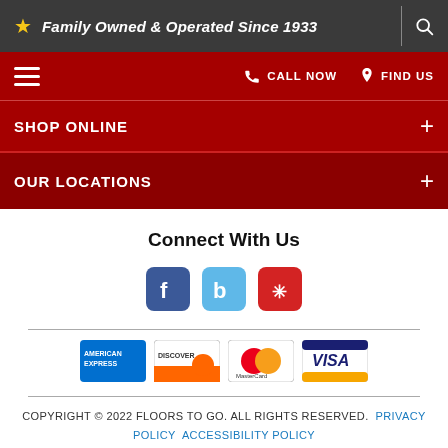Family Owned & Operated Since 1933
CALL NOW   FIND US
SHOP ONLINE +
OUR LOCATIONS +
Connect With Us
[Figure (logo): Social media icons: Facebook, Bing, Yelp]
[Figure (logo): Payment method logos: American Express, Discover, MasterCard, Visa]
COPYRIGHT © 2022 FLOORS TO GO. ALL RIGHTS RESERVED.   PRIVACY POLICY   ACCESSIBILITY POLICY